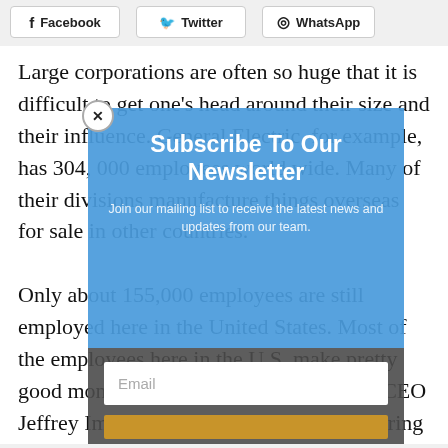[Figure (other): Social share buttons row: Facebook, Twitter, WhatsApp]
Large corporations are often so huge that it is difficult to get one's head around their size and their influence. General Electric, for example, has 304, 000 employees world wide. Many of their divisions manufacture things overseas for sale in other countries. Only about 155,000 employees are still employed here in the United States. Most of the employees here in the U.S. make pretty good money and many belong to unions. CEO Jeffrey Immelt has said that he will now bring
[Figure (other): Newsletter subscription modal overlay with blue background, title 'Subscribe To Our Newsletter', subtitle 'Join our mailing list to receive the latest news and updates from our team', email input field, and gold subscribe button. A close (X) button is in the upper left corner of the modal.]